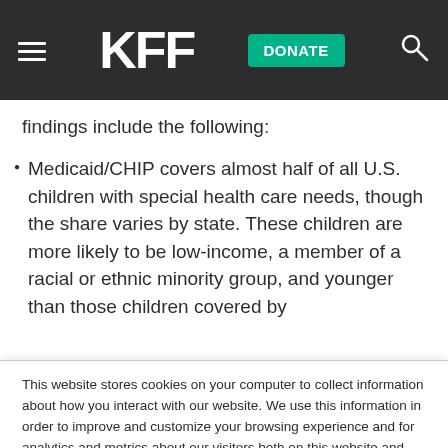KFF | DONATE
findings include the following:
Medicaid/CHIP covers almost half of all U.S. children with special health care needs, though the share varies by state. These children are more likely to be low-income, a member of a racial or ethnic minority group, and younger than those children covered by
This website stores cookies on your computer to collect information about how you interact with our website. We use this information in order to improve and customize your browsing experience and for analytics and metrics about our visitors both on this website and other media. To find out more about the cookies we use, see our Privacy Policy.